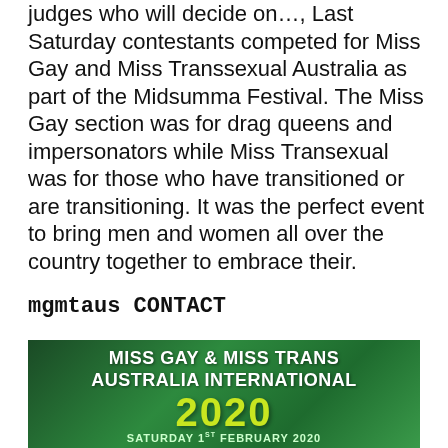judges who will decide on…, Last Saturday contestants competed for Miss Gay and Miss Transsexual Australia as part of the Midsumma Festival. The Miss Gay section was for drag queens and impersonators while Miss Transexual was for those who have transitioned or are transitioning. It was the perfect event to bring men and women all over the country together to embrace their.
mgmtaus CONTACT
[Figure (photo): Banner image for Miss Gay & Miss Trans Australia International 2020, Saturday 1st February 2020, green themed background with white and yellow-green text]